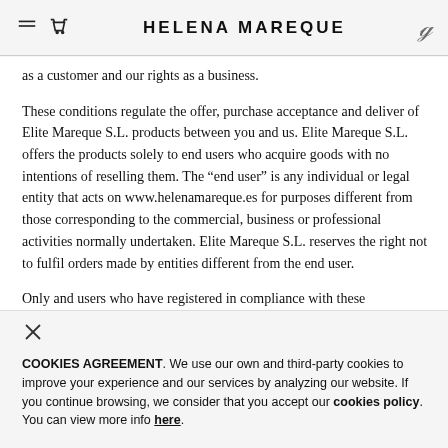HELENA MAREQUE
as a customer and our rights as a business.
These conditions regulate the offer, purchase acceptance and deliver of Elite Mareque S.L. products between you and us. Elite Mareque S.L. offers the products solely to end users who acquire goods with no intentions of reselling them. The “end user” is any individual or legal entity that acts on www.helenamareque.es for purposes different from those corresponding to the commercial, business or professional activities normally undertaken. Elite Mareque S.L. reserves the right not to fulfil orders made by entities different from the end user.
Only and users who have registered in compliance with these
COOKIES AGREEMENT. We use our own and third-party cookies to improve your experience and our services by analyzing our website. If you continue browsing, we consider that you accept our cookies policy. You can view more info here.